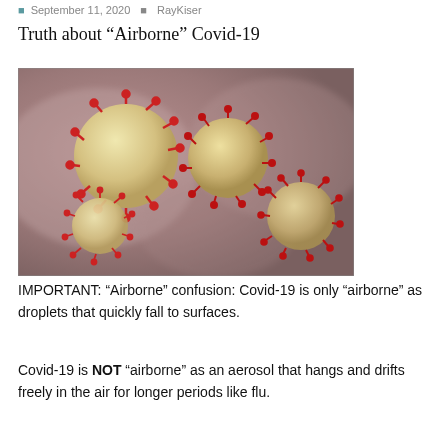September 11, 2020   RayKiser
Truth about “Airborne” Covid-19
[Figure (photo): Microscopic illustration of coronavirus particles (red and beige spherical structures with spike proteins) floating against a blurred pinkish-grey background]
IMPORTANT: “Airborne” confusion: Covid-19 is only “airborne” as droplets that quickly fall to surfaces.
Covid-19 is NOT “airborne” as an aerosol that hangs and drifts freely in the air for longer periods like flu.